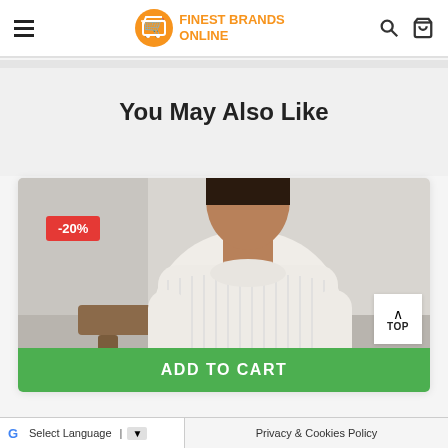Finest Brands Online — navigation header with hamburger menu, logo, search and cart icons
You May Also Like
[Figure (photo): Product photo of a woman wearing a white ribbed knit sweater, seated, with a -20% discount badge overlaid in red]
ADD TO CART
Select Language | Privacy & Cookies Policy